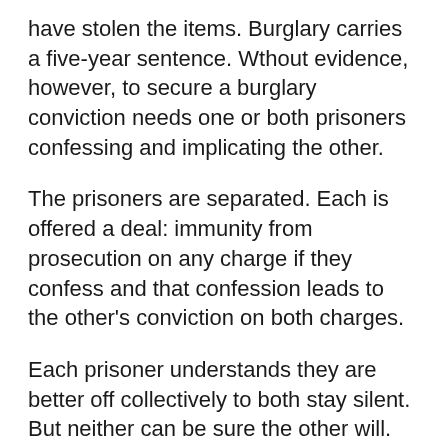have stolen the items. Burglary carries a five-year sentence. Wthout evidence, however, to secure a burglary conviction needs one or both prisoners confessing and implicating the other.
The prisoners are separated. Each is offered a deal: immunity from prosecution on any charge if they confess and that confession leads to the other's conviction on both charges.
Each prisoner understands they are better off collectively to both stay silent. But neither can be sure the other will.
if both stay silent, both get six months for possession
if only one confesses, the one of while the other